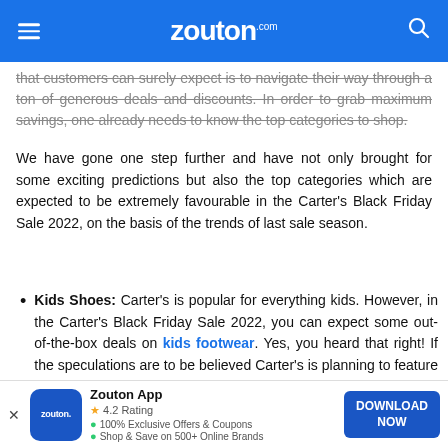zouton.com
that customers can surely expect is to navigate their way through a ton of generous deals and discounts. In order to grab maximum savings, one already needs to know the top categories to shop.
We have gone one step further and have not only brought for some exciting predictions but also the top categories which are expected to be extremely favourable in the Carter's Black Friday Sale 2022, on the basis of the trends of last sale season.
Kids Shoes: Carter's is popular for everything kids. However, in the Carter's Black Friday Sale 2022, you can expect some out-of-the-box deals on kids footwear. Yes, you heard that right! If the speculations are to be believed Carter's is planning to feature kid's shoes on the generous buy 1 get 1 free deal.
Licensed Fan Tees: Want to dress your little buddy in the colours of your favourite team? If yes, then make sure to shop a series of licensed fan tees in the Carter's Black Friday Sale